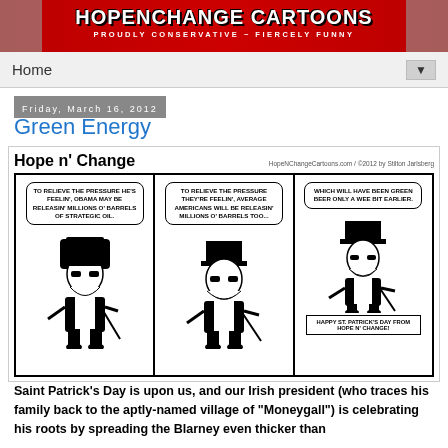HOPENCHANGE CARTOONS — PROUDLY CONSERVATIVE ~ FIERCELY FUNNY
Home ▼
Friday, March 16, 2012
Green Energy
[Figure (illustration): Hope n' Change political cartoon strip with three panels featuring a leprechaun character. Panel 1: 'TO RELIEVE THE PRESSURE HE'S FEELIN', OBAMA MAY BE RELEASIN' MILLIONS O' BARRELS OF STRATEGIC OIL.' Panel 2: 'TO RELIEVE THE PRESSURE THEY'RE FEELIN', AVERAGE AMERICANS WILL BE RELEASIN' MILLIONS O' BARRELS TOO...'. Panel 3: 'WHICH WILL HAVE BEEN GREEN BEER ONLY A WEE BIT EARLIER.' Footer in panel 3: 'HAPPY ST. PATRICK'S DAY FROM HOPE N' CHANGE!']
Saint Patrick's Day is upon us, and our Irish president (who traces his family back to the aptly-named village of "Moneygall") is celebrating his roots by spreading the Blarney even thicker than